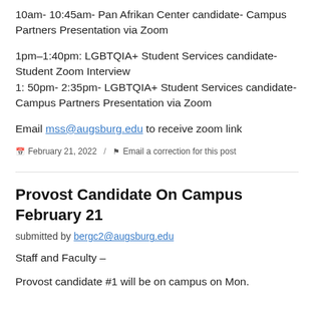10am- 10:45am- Pan Afrikan Center candidate- Campus Partners Presentation via Zoom
1pm–1:40pm: LGBTQIA+ Student Services candidate- Student Zoom Interview
1: 50pm- 2:35pm- LGBTQIA+ Student Services candidate- Campus Partners Presentation via Zoom
Email mss@augsburg.edu to receive zoom link
February 21, 2022 / Email a correction for this post
Provost Candidate On Campus February 21
submitted by bergc2@augsburg.edu
Staff and Faculty –
Provost candidate #1 will be on campus on Mon.